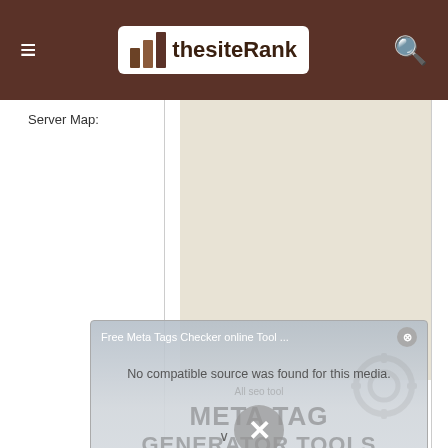thesiteRank
Server Map:
[Figure (screenshot): A popup overlay showing 'Free Meta Tags Checker online Tool ...' with error message 'No compatible source was found for this media.' overlaid on a Meta Tag Generator Tools advertisement from allsedtoolfree.com, with a close X button and gear icon graphic.]